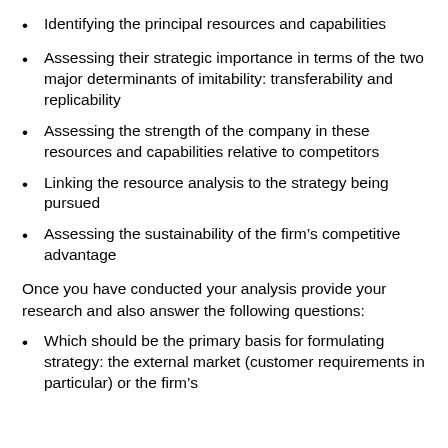Identifying the principal resources and capabilities
Assessing their strategic importance in terms of the two major determinants of imitability: transferability and replicability
Assessing the strength of the company in these resources and capabilities relative to competitors
Linking the resource analysis to the strategy being pursued
Assessing the sustainability of the firm’s competitive advantage
Once you have conducted your analysis provide your research and also answer the following questions:
Which should be the primary basis for formulating strategy: the external market (customer requirements in particular) or the firm’s